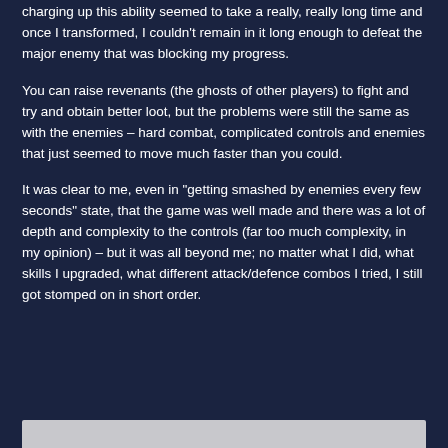charging up this ability seemed to take a really, really long time and once I transformed, I couldn't remain in it long enough to defeat the major enemy that was blocking my progress.
You can raise revenants (the ghosts of other players) to fight and try and obtain better loot, but the problems were still the same as with the enemies – hard combat, complicated controls and enemies that just seemed to move much faster than you could.
It was clear to me, even in "getting smashed by enemies every few seconds" state, that the game was well made and there was a lot of depth and complexity to the controls (far too much complexity, in my opinion) – but it was all beyond me; no matter what I did, what skills I upgraded, what different attack/defence combos I tried, I still got stomped on in short order.
[Figure (other): Grey image/content bar at the bottom of the page]